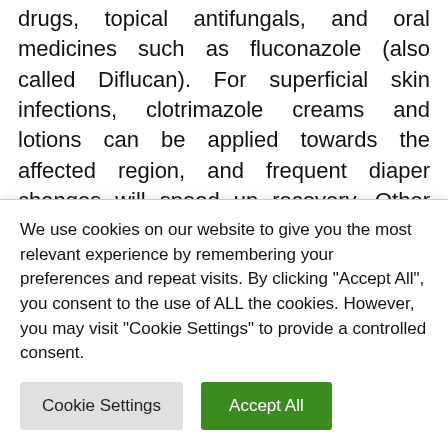drugs, topical antifungals, and oral medicines such as fluconazole (also called Diflucan). For superficial skin infections, clotrimazole creams and lotions can be applied towards the affected region, and frequent diaper changes will speed up recovery. Other over-the-counter medicines, like nystatin, are also available within the form of tablets and lozenges.

Yeast infections are a result from the overgrowth of yeast around the skin. It happens when a natural balance
We use cookies on our website to give you the most relevant experience by remembering your preferences and repeat visits. By clicking "Accept All", you consent to the use of ALL the cookies. However, you may visit "Cookie Settings" to provide a controlled consent.